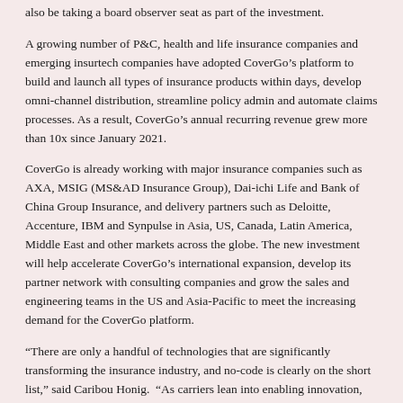also be taking a board observer seat as part of the investment.
A growing number of P&C, health and life insurance companies and emerging insurtech companies have adopted CoverGo's platform to build and launch all types of insurance products within days, develop omni-channel distribution, streamline policy admin and automate claims processes. As a result, CoverGo's annual recurring revenue grew more than 10x since January 2021.
CoverGo is already working with major insurance companies such as AXA, MSIG (MS&AD Insurance Group), Dai-ichi Life and Bank of China Group Insurance, and delivery partners such as Deloitte, Accenture, IBM and Synpulse in Asia, US, Canada, Latin America, Middle East and other markets across the globe. The new investment will help accelerate CoverGo's international expansion, develop its partner network with consulting companies and grow the sales and engineering teams in the US and Asia-Pacific to meet the increasing demand for the CoverGo platform.
“There are only a handful of technologies that are significantly transforming the insurance industry, and no-code is clearly on the short list,” said Caribou Honig.  “As carriers lean into enabling innovation, CoverGo is uniquely positioned to accelerate their digital transformation and drive efficiencies across the insurance value chain. CoverGo’s next-generation platform is providing carriers an unbeatable mix of speed to market, cost